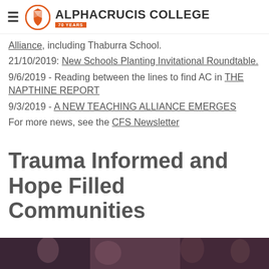Alphacrucis College — 70 Years
Alliance, including Thaburra School.
21/10/2019: New Schools Planting Invitational Roundtable.
9/6/2019 - Reading between the lines to find AC in THE NAPTHINE REPORT
9/3/2019 - A NEW TEACHING ALLIANCE EMERGES
For more news, see the CFS Newsletter
Trauma Informed and Hope Filled Communities
[Figure (photo): A photo strip at the bottom of the page showing a group scene, partially visible]